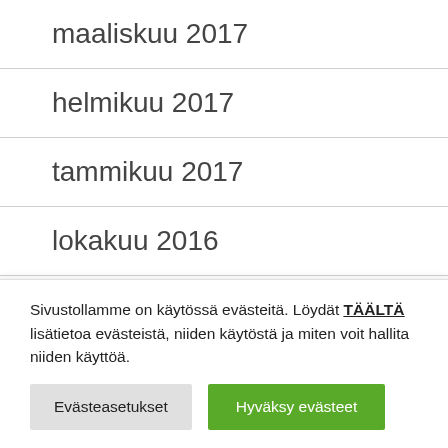maaliskuu 2017
helmikuu 2017
tammikuu 2017
lokakuu 2016
heinäkuu 2016
kesäkuu 2016
huhtikuu 2016
Sivustollamme on käytössä evästeitä. Löydät TÄÄLTÄ lisätietoa evästeistä, niiden käytöstä ja miten voit hallita niiden käyttöä.
Evästeasetukset | Hyväksy evästeet